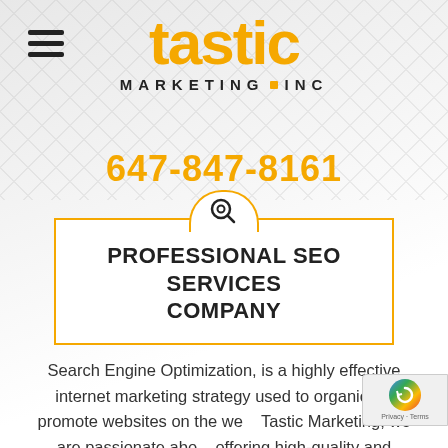[Figure (logo): Tastic Marketing Inc logo with yellow/gold stylized text and tagline]
647-847-8161
PROFESSIONAL SEO SERVICES COMPANY
Search Engine Optimization, is a highly effective internet marketing strategy used to organically promote websites on the web. Tastic Marketing, we are passionate about offering high-quality and competitive on-page